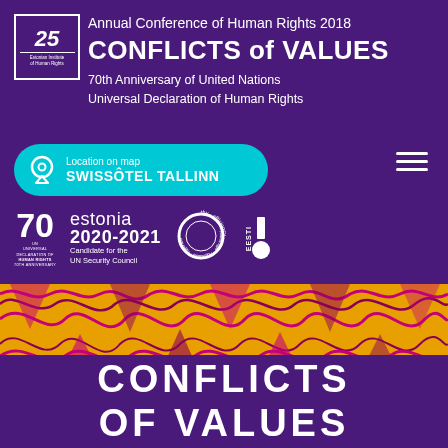[Figure (logo): Estonian Institute of Human Rights 25th anniversary logo — square border with '25' and institute name]
Annual Conference of Human Rights 2018
CONFLICTS of VALUES
70th Anniversary of United Nations Universal Declaration of Human Rights
[Figure (infographic): Teal rounded button showing location pin icon with text 'Location on map SWISSÔTEL TALLINN']
[Figure (infographic): Hamburger menu icon (three horizontal white lines)]
[Figure (logo): 70 UN Universal Declaration of Human Rights anniversary logo]
[Figure (logo): Estonia 2020-2021 Candidate for the UN Security Council logo]
[Figure (logo): Circular logo with text: equality, empathy, efficiency]
[Figure (logo): Eesti 18 logo with vertical bar and circle]
[Figure (illustration): Decorative psychedelic wavy pattern in yellow, orange, purple and magenta]
CONFLICTS OF VALUES